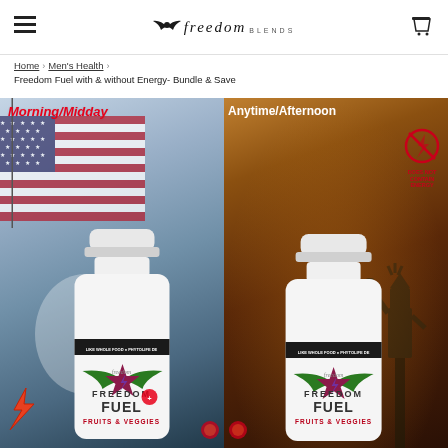≡  freedom  🛍
Home › Men's Health › Freedom Fuel with & without Energy- Bundle & Save
[Figure (photo): Product page showing two Freedom Fuel supplement bottles side by side. Left panel labeled 'Morning/Midday' with American flag background shows the Freedom Fuel with energy bottle. Right panel labeled 'Anytime/Afternoon' with Statue of Liberty sunset background shows Freedom Fuel without energy bottle, with a red circle-slash energy symbol and 'DOES NOT CONTAIN ENERGY' text. Both bottles show 'FREEDOM FUEL FRUITS & VEGGIES' labeling with the brand's eagle/star logo.]